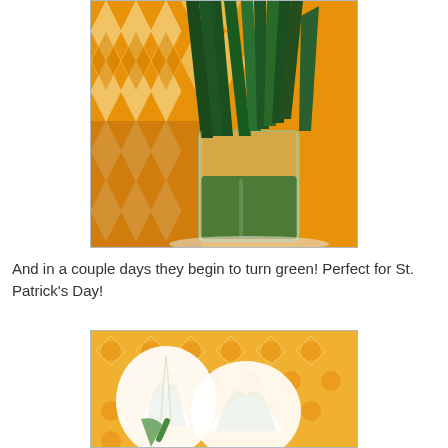[Figure (photo): Green leafy stems in a glass vase with green-tinted water, set against an orange and white patterned background]
And in a couple days they begin to turn green! Perfect for St. Patrick's Day!
[Figure (photo): White/light green tulip flowers lying on an orange and white patterned background]